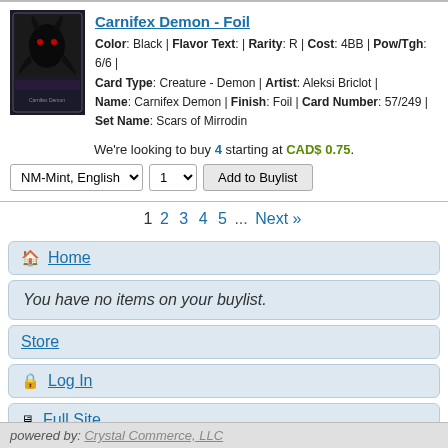[Figure (illustration): Magic: The Gathering card image for Carnifex Demon, dark creature art]
Carnifex Demon - Foil
Color: Black | Flavor Text: | Rarity: R | Cost: 4BB | Pow/Tgh: 6/6 | Card Type: Creature - Demon | Artist: Aleksi Briclot | Name: Carnifex Demon | Finish: Foil | Card Number: 57/249 | Set Name: Scars of Mirrodin
We're looking to buy 4 starting at CAD$ 0.75.
NM-Mint, English  1  Add to Buylist
1  2  3  4  5  ...  Next »
Home
You have no items on your buylist.
Store
Log In
Full Site
powered by: Crystal Commerce, LLC